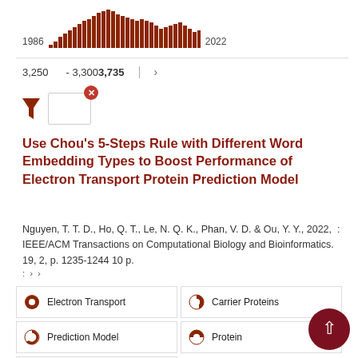[Figure (bar-chart): Publications per year 1986–2022]
3,250   - 3,3003,735   >
Use Chou's 5-Steps Rule with Different Word Embedding Types to Boost Performance of Electron Transport Protein Prediction Model
Nguyen, T. T. D., Ho, Q. T., Le, N. Q. K., Phan, V. D. & Ou, Y. Y., 2022,  : IEEE/ACM Transactions on Computational Biology and Bioinformatics. 19, 2, p. 1235-1244 10 p.
Electron Transport
Carrier Proteins
Prediction Model
Protein
Cell Respiration